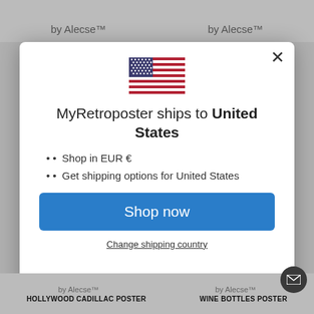by Alecse™   by Alecse™
[Figure (illustration): US flag emoji/icon used in modal dialog]
MyRetroposter ships to United States
Shop in EUR €
Get shipping options for United States
Shop now
Change shipping country
by Alecse™   by Alecse™
HOLLYWOOD CADILLAC POSTER   WINE BOTTLES POSTER